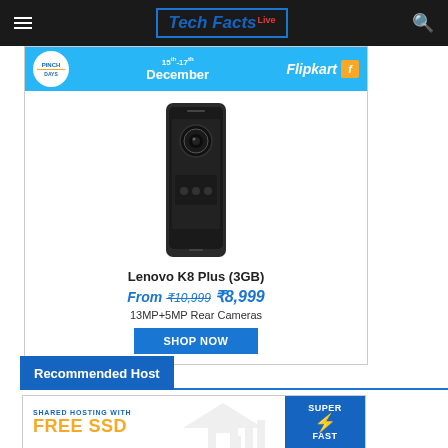Tech Facts Live
[Figure (infographic): Flipkart Pinch Days sale banner for Lenovo K8 Plus (3GB) smartphone. Shows 15-17 December dates, Flipkart branding, phone image, price From ₹10,999 ₹8,999, 13MP+5MP Rear Cameras, SHOP NOW button.]
Recommended Host
[Figure (infographic): Shared hosting advertisement with SUPER FAST badge and FREE SSD text, with house/graph icon watermark.]